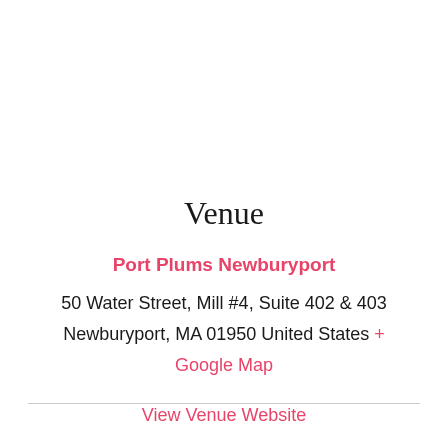Venue
Port Plums Newburyport
50 Water Street, Mill #4, Suite 402 & 403
Newburyport, MA 01950 United States + Google Map
View Venue Website